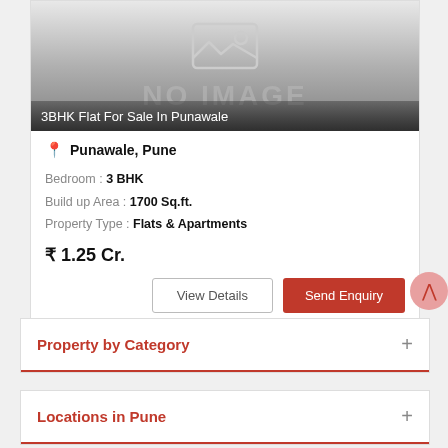[Figure (photo): No image placeholder with grey gradient background and mountain/image icon, showing text NO IMAGE]
3BHK Flat For Sale In Punawale
Punawale, Pune
Bedroom : 3 BHK
Build up Area : 1700 Sq.ft.
Property Type : Flats & Apartments
₹ 1.25 Cr.
Property by Category
Locations in Pune